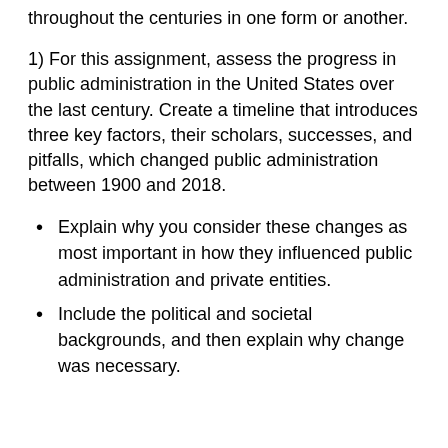throughout the centuries in one form or another.
1) For this assignment, assess the progress in public administration in the United States over the last century. Create a timeline that introduces three key factors, their scholars, successes, and pitfalls, which changed public administration between 1900 and 2018.
Explain why you consider these changes as most important in how they influenced public administration and private entities.
Include the political and societal backgrounds, and then explain why change was necessary.